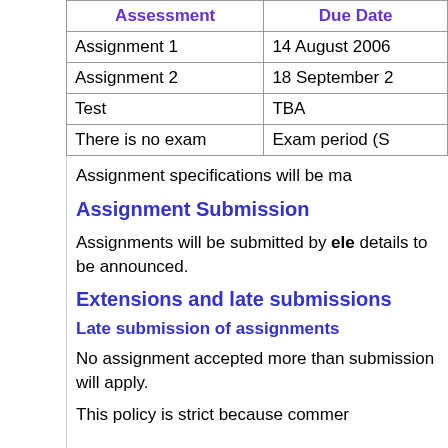| Assessment | Due Date |
| --- | --- |
| Assignment 1 | 14 August 2006 |
| Assignment 2 | 18 September 2 |
| Test | TBA |
| There is no exam | Exam period (S |
Assignment specifications will be ma
Assignment Submission
Assignments will be submitted by ele details to be announced.
Extensions and late submissions
Late submission of assignments
No assignment accepted more than submission will apply.
This policy is strict because commer